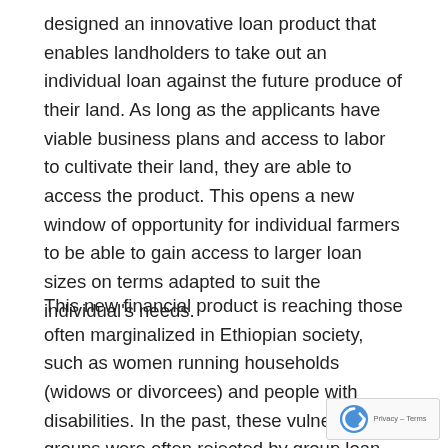designed an innovative loan product that enables landholders to take out an individual loan against the future produce of their land. As long as the applicants have viable business plans and access to labor to cultivate their land, they are able to access the product. This opens a new window of opportunity for individual farmers to be able to gain access to larger loan sizes on terms adapted to suit the individual's needs.
This new financial product is reaching those often marginalized in Ethiopian society, such as women running households (widows or divorcees) and people with disabilities. In the past, these vulnerable groups were often rejected by group loan members for fear of defaulting on their loan(s). LIFT is currently working with seven microfinance institutions (MFIs) that have disbursed